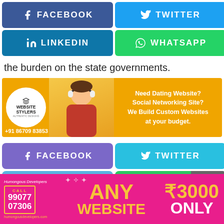[Figure (screenshot): Social media sharing buttons: Facebook (blue), Twitter (light blue), LinkedIn (blue), WhatsApp (green) in a 2x2 grid at top]
the burden on the state governments.
[Figure (infographic): Advertisement banner for Website Stylers on orange background. Shows logo circle with 'WEBSITE STYLERS' text, woman with headphones, and text: 'Need Dating Website? Social Networking Site? We Build Custom Websites at your budget.' Phone: +91 86709 83853]
[Figure (screenshot): Second set of social media sharing buttons: Facebook (purple), Twitter (light blue), LinkedIn (blue), WhatsApp (green) in a 2x2 grid]
[Figure (infographic): Bottom advertisement for Humongous Developers on pink/magenta background. Text: 'ANY WEBSITE ₹3000 ONLY'. Call 99077 07306. Website: humongousdevelopers.com. Close button overlay.]